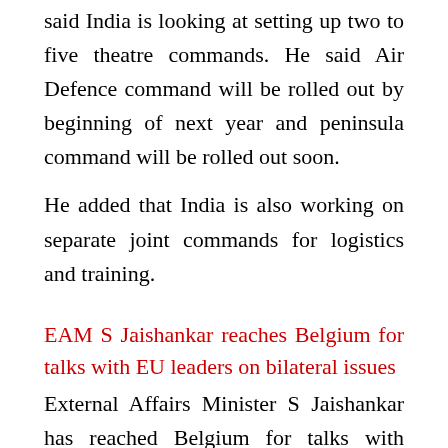said India is looking at setting up two to five theatre commands. He said Air Defence command will be rolled out by beginning of next year and peninsula command will be rolled out soon.
He added that India is also working on separate joint commands for logistics and training.
EAM S Jaishankar reaches Belgium for talks with EU leaders on bilateral issues
External Affairs Minister S Jaishankar has reached Belgium for talks with leaders of the European Union on the bilateral issues and prepare the ground for Prime Minister Narendra Modi's planned visit for the 15th India-EU summit in Brussels in March. Dr. Jaishankar met his Belgian counterpart Philippe Goffin